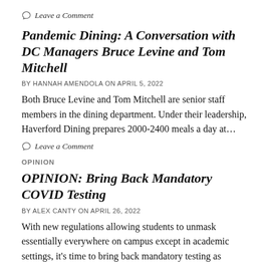Leave a Comment
Pandemic Dining: A Conversation with DC Managers Bruce Levine and Tom Mitchell
BY HANNAH AMENDOLA ON APRIL 5, 2022
Both Bruce Levine and Tom Mitchell are senior staff members in the dining department. Under their leadership, Haverford Dining prepares 2000-2400 meals a day at…
Leave a Comment
OPINION
OPINION: Bring Back Mandatory COVID Testing
BY ALEX CANTY ON APRIL 26, 2022
With new regulations allowing students to unmask essentially everywhere on campus except in academic settings, it's time to bring back mandatory testing as